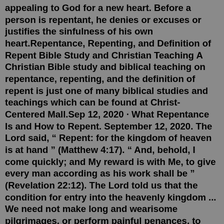appealing to God for a new heart. Before a person is repentant, he denies or excuses or justifies the sinfulness of his own heart.Repentance, Repenting, and Definition of Repent Bible Study and Christian Teaching A Christian Bible study and biblical teaching on repentance, repenting, and the definition of repent is just one of many biblical studies and teachings which can be found at Christ-Centered Mall.Sep 12, 2020 · What Repentance Is and How to Repent. September 12, 2020. The Lord said, “ Repent: for the kingdom of heaven is at hand ” (Matthew 4:17). “ And, behold, I come quickly; and My reward is with Me, to give every man according as his work shall be ” (Revelation 22:12). The Lord told us that the condition for entry into the heavenly kingdom ... We need not make long and wearisome pilgrimages, or perform painful penances, to commend our souls to the God of heaven or to expiate our transgression; but he that confesseth and forsaketh his sin shall have mercy.". Steps to Christ, 37. "No man of himself can repent, and make himself worthy of the blessing of